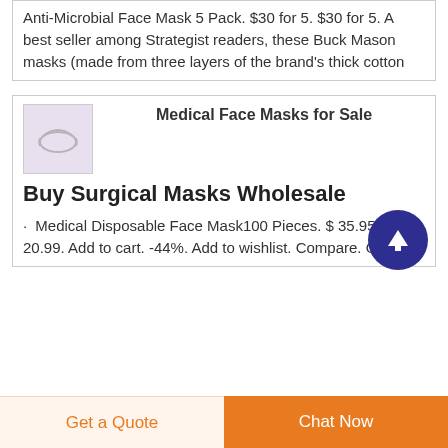Anti-Microbial Face Mask 5 Pack. $30 for 5. $30 for 5. A best seller among Strategist readers, these Buck Mason masks (made from three layers of the brand's thick cotton
[Figure (photo): Small thumbnail image of a face mask, light purple/gray background]
Medical Face Masks for Sale
Buy Surgical Masks Wholesale
Medical Disposable Face Mask100 Pieces. $ 35.95 $ 20.99. Add to cart. -44%. Add to wishlist. Compare. Quick
[Figure (other): Circular dark blue scroll-to-top button with upward arrow icon]
Get a Quote
Chat Now